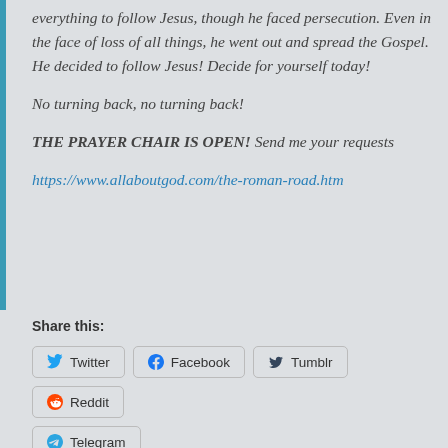everything to follow Jesus, though he faced persecution. Even in the face of loss of all things, he went out and spread the Gospel. He decided to follow Jesus! Decide for yourself today!

No turning back, no turning back!

THE PRAYER CHAIR IS OPEN! Send me your requests

https://www.allaboutgod.com/the-roman-road.htm
Share this:
Twitter
Facebook
Tumblr
Reddit
Telegram